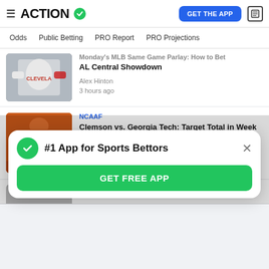ACTION
Odds | Public Betting | PRO Report | PRO Projections
Monday's MLB Same Game Parlay: How to Bet AL Central Showdown
Alex Hinton
3 hours ago
NCAAF
Clemson vs. Georgia Tech: Target Total in Week 1 Finale
Anthony Dabbundo
3 hours ago
#1 App for Sports Bettors
GET FREE APP